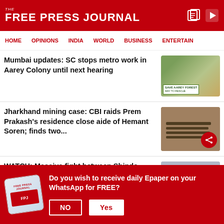THE FREE PRESS JOURNAL
HOME  OPINIONS  INDIA  WORLD  BUSINESS  ENTERTAIN
Mumbai updates: SC stops metro work in Aarey Colony until next hearing
[Figure (photo): People holding Save Aarey Forest banners]
Jharkhand mining case: CBI raids Prem Prakash's residence close aide of Hemant Soren; finds two...
[Figure (photo): Rifles/weapons laid out on a surface]
WATCH: Massive fight between Shinde Sena and Opposition MLAs outside Maharashtra Assembly
[Figure (photo): Group of politicians/MLAs gathered outside Maharashtra Assembly]
Do you wish to receive daily Epaper on your WhatsApp for FREE?